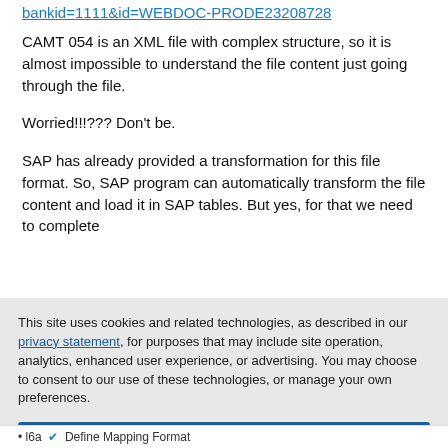bankid=1111&id=WEBDOC-PRODE23208728
CAMT 054 is an XML file with complex structure, so it is almost impossible to understand the file content just going through the file.
Worried!!!??? Don't be.
SAP has already provided a transformation for this file format. So, SAP program can automatically transform the file content and load it in SAP tables. But yes, for that we need to complete
This site uses cookies and related technologies, as described in our privacy statement, for purposes that may include site operation, analytics, enhanced user experience, or advertising. You may choose to consent to our use of these technologies, or manage your own preferences.
Accept Cookies
More Information
Privacy Policy | Powered by: TrustArc
• l6a Define Mapping Format